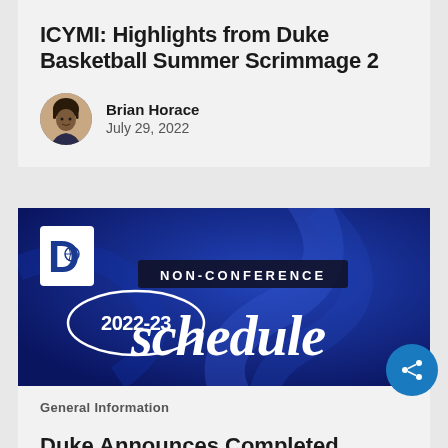ICYMI: Highlights from Duke Basketball Summer Scrimmage 2
Brian Horace
July 29, 2022
[Figure (illustration): Duke Basketball 2022-23 Non-Conference Schedule banner image on dark blue background with Duke logo and stylized text]
General Information
Duke Announces Completed